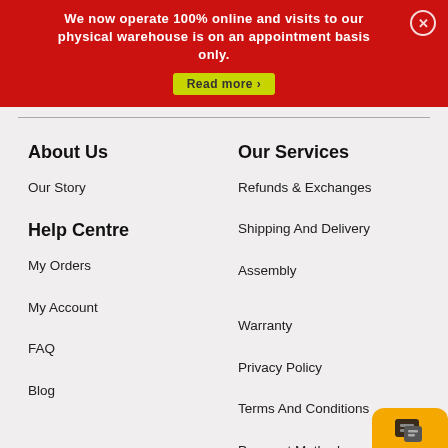We now operate 100% online and visits to our physical warehouse is on an appointment basis only.
Read more
About Us
Our Story
Help Centre
My Orders
My Account
FAQ
Blog
Our Services
Refunds & Exchanges
Shipping And Delivery
Assembly
Warranty
Privacy Policy
Terms And Conditions
Payment Method
Live Chat